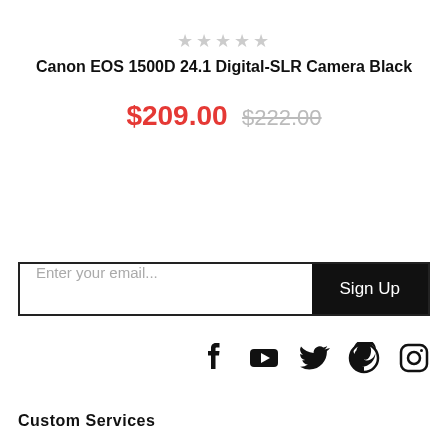★★★★★
Canon EOS 1500D 24.1 Digital-SLR Camera Black
$209.00  $222.00
[Figure (screenshot): Email sign-up bar with placeholder 'Enter your email...' and a black 'Sign Up' button]
[Figure (infographic): Social media icons: Facebook, YouTube, Twitter, Pinterest, Instagram]
Custom Services